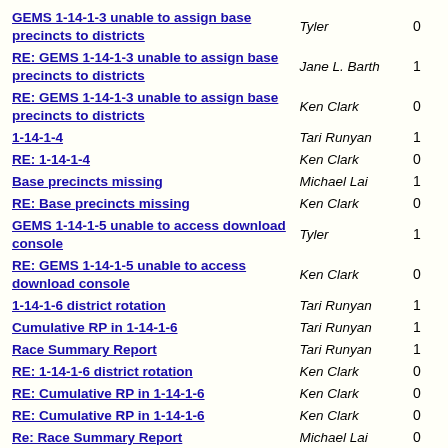| Subject | Author |  |
| --- | --- | --- |
| GEMS 1-14-1-3 unable to assign base precincts to districts | Tyler | 0 |
| RE: GEMS 1-14-1-3 unable to assign base precincts to districts | Jane L. Barth | 1 |
| RE: GEMS 1-14-1-3 unable to assign base precincts to districts | Ken Clark | 0 |
| 1-14-1-4 | Tari Runyan | 1 |
| RE: 1-14-1-4 | Ken Clark | 0 |
| Base precincts missing | Michael Lai | 1 |
| RE: Base precincts missing | Ken Clark | 0 |
| GEMS 1-14-1-5 unable to access download console | Tyler | 1 |
| RE: GEMS 1-14-1-5 unable to access download console | Ken Clark | 0 |
| 1-14-1-6 district rotation | Tari Runyan | 1 |
| Cumulative RP in 1-14-1-6 | Tari Runyan | 1 |
| Race Summary Report | Tari Runyan | 1 |
| RE: 1-14-1-6 district rotation | Ken Clark | 0 |
| RE: Cumulative RP in 1-14-1-6 | Ken Clark | 0 |
| RE: Cumulative RP in 1-14-1-6 | Ken Clark | 0 |
| Re: Race Summary Report | Michael Lai | 0 |